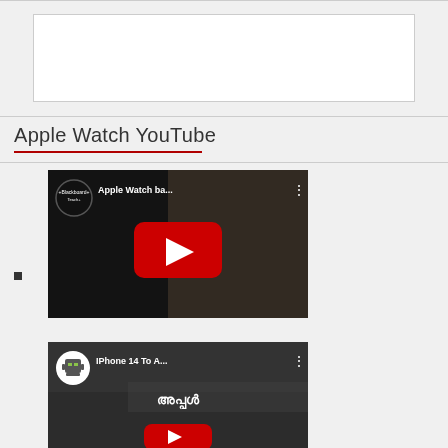[Figure (other): Empty white advertisement placeholder box]
Apple Watch YouTube
[Figure (screenshot): YouTube video thumbnail showing 'Apple Watch ba...' by Blackboard channel with red play button]
[Figure (screenshot): YouTube video thumbnail showing 'IPhone 14 To A...' with Malayalam text and red play button]